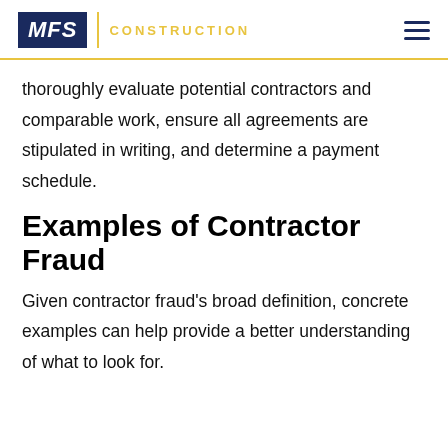MFS CONSTRUCTION
thoroughly evaluate potential contractors and comparable work, ensure all agreements are stipulated in writing, and determine a payment schedule.
Examples of Contractor Fraud
Given contractor fraud's broad definition, concrete examples can help provide a better understanding of what to look for.